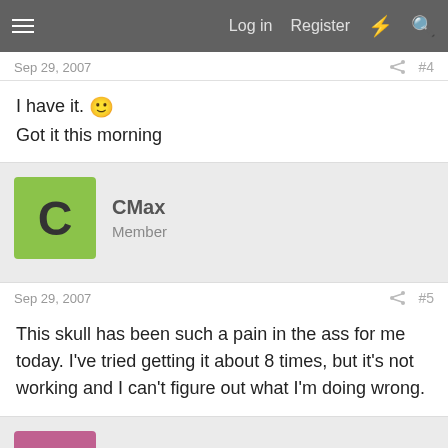Log in  Register
Sep 29, 2007  #4
I have it. 🙂
Got it this morning
CMax
Member
Sep 29, 2007  #5
This skull has been such a pain in the ass for me today. I've tried getting it about 8 times, but it's not working and I can't figure out what I'm doing wrong.
Khuntilla
New Member
Sep 29, 2007  #6